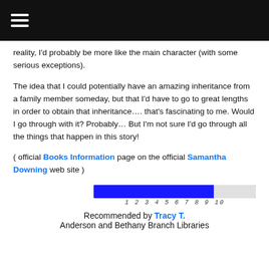reality, I'd probably be more like the main character (with some serious exceptions).
The idea that I could potentially have an amazing inheritance from a family member someday, but that I'd have to go to great lengths in order to obtain that inheritance…. that's fascinating to me. Would I go through with it? Probably… But I'm not sure I'd go through all the things that happen in this story!
( official Books Information page on the official Samantha Downing web site )
[Figure (other): A rating bar showing a score of approximately 7-8 out of 10, with a dark blue filled bar and a light gray unfilled section, with numbers 1 2 3 4 5 6 7 8 9 10 below.]
Recommended by Tracy T.
Anderson and Bethany Branch Libraries